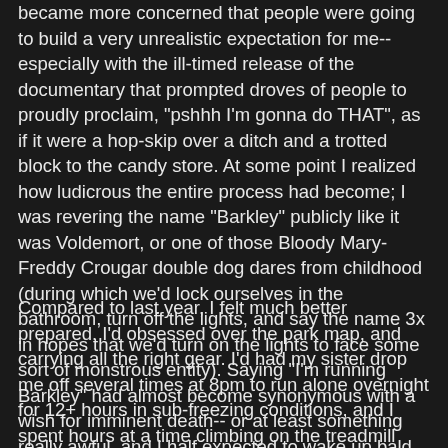became more concerned that people were going to build a very unrealistic expectation for me-- especially with the ill-timed release of the documentary that prompted droves of people to proudly proclaim, "pshhh I'm gonna do THAT", as if it were a hop-skip over a ditch and a trotted block to the candy store. At some point I realized how ludicrous the entire process had become; I was revering the name "Barkley" publicly like it was Voldemort, or one of those Bloody Mary-Freddy Crougar double dog dares from childhood (during which we'd lock ourselves in the bathroom, turn off the lights, and say the name 3x in hopes that we'd turn on the lights to face some sort of monstrous entity). Saying "I'm running Barkley" had almost become synonymous with a wish for imminent death-- or at least something really awful, and I half expected to wake up bald and bloodshot with my fingernails missing for having done it.
Compared to last year, I felt much better prepared. I'd obsessed over the park map, and carrying all the right gear. I'd had my sister drop me off several times at 8pm to run alone overnight for 12+ hours in sub-freezing conditions, and I spent hours at a time climbing on the treadmill with the incline maxed. In the fall, prior to submitting my request for